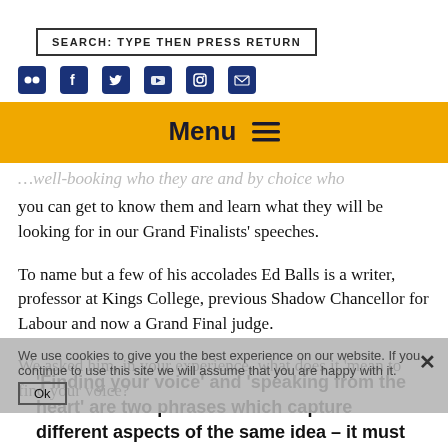SEARCH: TYPE THEN PRESS RETURN
[Figure (infographic): Row of social media icons: Flickr, Facebook, Twitter, YouTube, Instagram, Email — all in dark navy blue square icons]
[Figure (infographic): Orange navigation menu bar with 'Menu' text and hamburger icon]
…well-booking who they are and by choice who you can get to know them and learn what they will be looking for in our Grand Finalists' speeches.
To name but a few of his accolades Ed Balls is a writer, professor at Kings College, previous Shadow Chancellor for Labour and now a Grand Final judge.
We asked him, in your experience, what does it 'mean to find your voice?
'Finding your voice' and 'speaking from the heart' are two phrases which capture different aspects of the same idea – it must be you